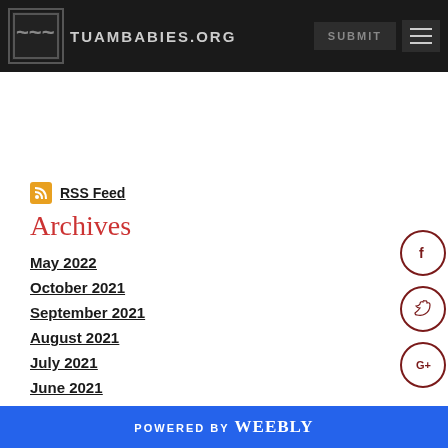TUAMBABIES.ORG | SUBMIT
RSS Feed
Archives
May 2022
October 2021
September 2021
August 2021
July 2021
June 2021
April 2021
POWERED BY weebly